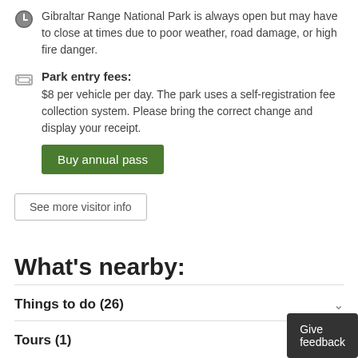Gibraltar Range National Park is always open but may have to close at times due to poor weather, road damage, or high fire danger.
Park entry fees:
$8 per vehicle per day. The park uses a self-registration fee collection system. Please bring the correct change and display your receipt.
Buy annual pass
See more visitor info
What's nearby:
Things to do (26)
Tours (1)
Give feedback